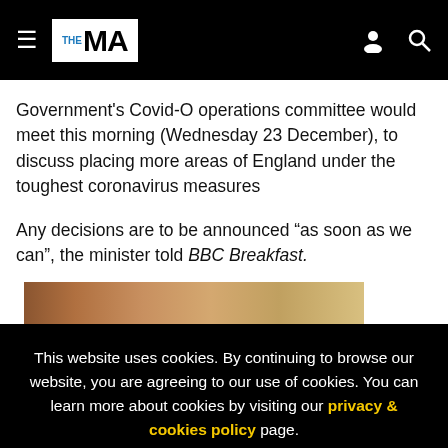THE MA (logo/navigation header)
Government’s Covid-O operations committee would meet this morning (Wednesday 23 December), to discuss placing more areas of England under the toughest coronavirus measures
Any decisions are to be announced “as soon as we can”, the minister told BBC Breakfast.
[Figure (photo): Partial photo of a person, cropped at bottom of article content area]
This website uses cookies. By continuing to browse our website, you are agreeing to our use of cookies. You can learn more about cookies by visiting our privacy & cookies policy page.
I Agree